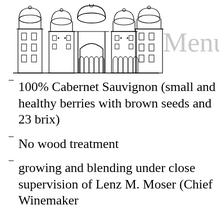[Figure (illustration): Line drawing of a grand building/palace with multiple domes and arched windows, accompanied by 'Menu' text in light gray to the right]
100% Cabernet Sauvignon (small and healthy berries with brown seeds and 23 brix)
No wood treatment
growing and blending under close supervision of Lenz M. Moser (Chief Winemaker